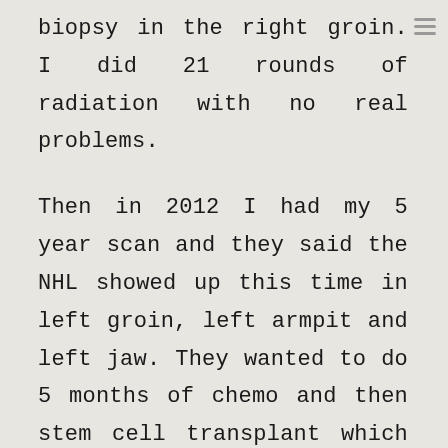biopsy in the right groin. I did 21 rounds of radiation with no real problems.
Then in 2012 I had my 5 year scan and they said the NHL showed up this time in left groin, left armpit and left jaw. They wanted to do 5 months of chemo and then stem cell transplant which would have